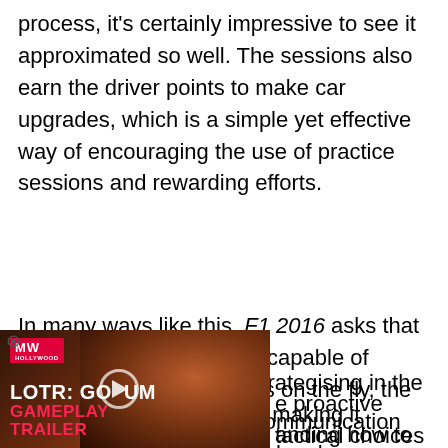process, it's certainly impressive to see it approximated so well. The sessions also earn the driver points to make car upgrades, which is a simple yet effective way of encouraging the use of practice sessions and rewarding efforts.
In many ways like this, F1 2016 asks that the player is efficient and capable of making practical decisions on the fly, the way real drivers would. Communication with the engineering team has been stepped up, and race strategies can be selected and changed in-race. The accessibility of strategising in the game is quite impressive, making it [... proactive tactical choices and ...anding how to manage fuel, ...hose super soft tyres, or how
[Figure (screenshot): Video overlay thumbnail for 'LOTR: Gollum Gameplay Trailer' with MW logo, play button, and dark orange-toned background image]